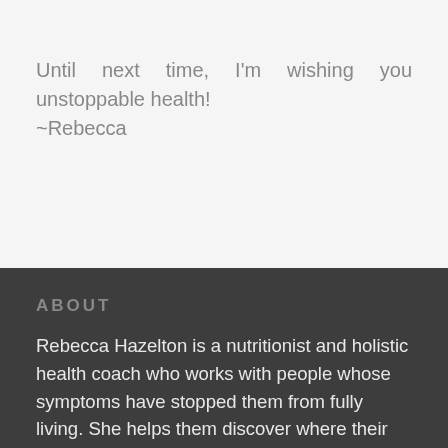Until next time, I'm wishing you unstoppable health!
~Rebecca
ABOUT
Rebecca Hazelton is a nutritionist and holistic health coach who works with people whose symptoms have stopped them from fully living. She helps them discover where their best health